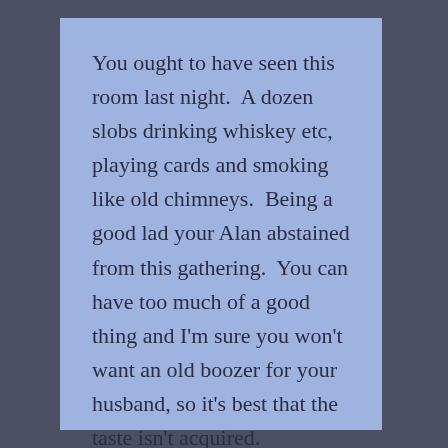You ought to have seen this room last night.  A dozen slobs drinking whiskey etc, playing cards and smoking like old chimneys.  Being a good lad your Alan abstained from this gathering.  You can have too much of a good thing and I'm sure you won't want an old boozer for your husband, so it's best that the taste isn't acquired.
Saw a scruffy looking individual slouching across Squadron Compound with hands in pockets so without considering the consequences I